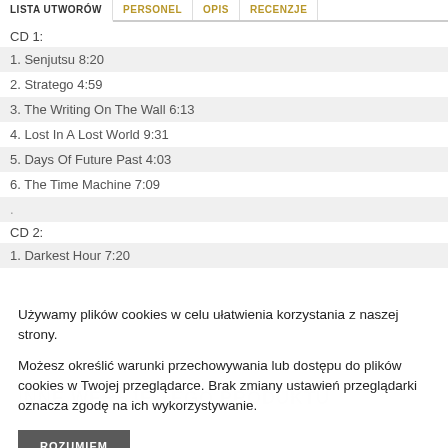LISTA UTWORÓW | PERSONEL | OPIS | RECENZJE
CD 1:
1. Senjutsu 8:20
2. Stratego 4:59
3. The Writing On The Wall 6:13
4. Lost In A Lost World 9:31
5. Days Of Future Past 4:03
6. The Time Machine 7:09
.
CD 2:
1. Darkest Hour 7:20
Używamy plików cookies w celu ułatwienia korzystania z naszej strony.
Możesz określić warunki przechowywania lub dostępu do plików cookies w Twojej przeglądarce. Brak zmiany ustawień przeglądarki oznacza zgodę na ich wykorzystywanie.
ROZUMIEM